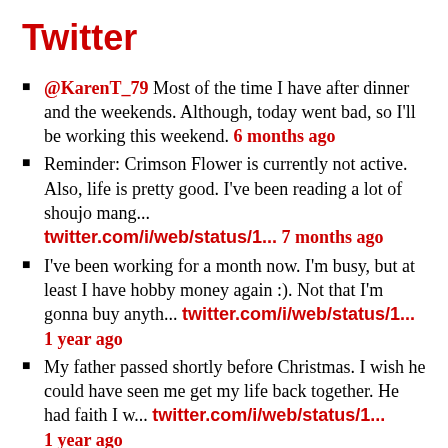Twitter
@KarenT_79 Most of the time I have after dinner and the weekends. Although, today went bad, so I'll be working this weekend. 6 months ago
Reminder: Crimson Flower is currently not active. Also, life is pretty good. I've been reading a lot of shoujo mang... twitter.com/i/web/status/1... 7 months ago
I've been working for a month now. I'm busy, but at least I have hobby money again :). Not that I'm gonna buy anyth... twitter.com/i/web/status/1... 1 year ago
My father passed shortly before Christmas. I wish he could have seen me get my life back together. He had faith I w... twitter.com/i/web/status/1... 1 year ago
Life is finally settling. I'm cleaning up and